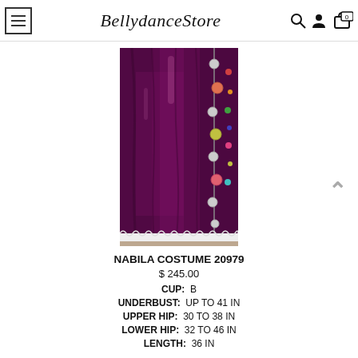BellydanceStore
[Figure (photo): Close-up photo of a purple/magenta velvet bellydance costume with colorful coin decorations and white lace trim at the bottom]
NABILA COSTUME 20979
$ 245.00
CUP: B
UNDERBUST: UP TO 41 IN
UPPER HIP: 30 TO 38 IN
LOWER HIP: 32 TO 46 IN
LENGTH: 36 IN